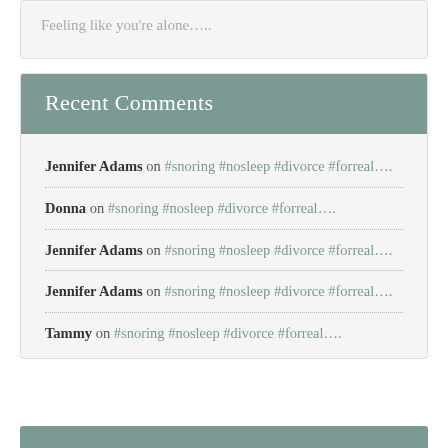Feeling like you're alone…..
Recent Comments
Jennifer Adams on #snoring #nosleep #divorce #forreal….
Donna on #snoring #nosleep #divorce #forreal….
Jennifer Adams on #snoring #nosleep #divorce #forreal….
Jennifer Adams on #snoring #nosleep #divorce #forreal….
Tammy on #snoring #nosleep #divorce #forreal….